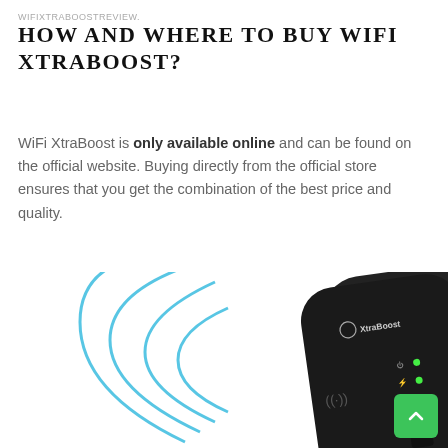WIFIXTRABOOSTREVIEW.
HOW AND WHERE TO BUY WIFI XTRABOOST?
WiFi XtraBoost is only available online and can be found on the official website. Buying directly from the official store ensures that you get the combination of the best price and quality.
[Figure (photo): Product photo of the XtraBoost WiFi range extender device (black rounded rectangle plug-in form factor with green LED indicators and XtraBoost logo), shown with blue concentric arc signal waves emanating from the left side.]